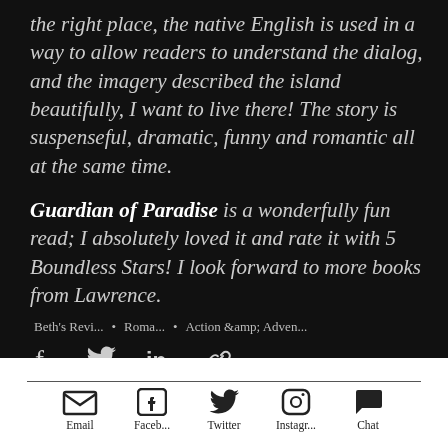the right place, the native English is used in a way to allow readers to understand the dialog, and the imagery described the island beautifully, I want to live there! The story is suspenseful, dramatic, funny and romantic all at the same time.
Guardian of Paradise is a wonderfully fun read; I absolutely loved it and rate it with 5 Boundless Stars! I look forward to more books from Lawrence.
Beth's Revi... • Roma... • Action &amp; Adven...
[Figure (other): Social share icons: Facebook, Twitter, LinkedIn, Link]
[Figure (other): Footer navigation icons: Email, Facebook, Twitter, Instagram, Chat]